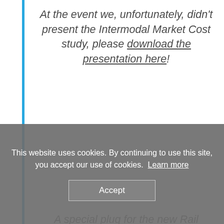At the event we, unfortunately, didn't present the Intermodal Market Cost study, please download the presentation here!
A special plug for the new Rail Facilities Portal, hosted by RailNetEurope, download a
This website uses cookies. By continuing to use this site, you accept our use of cookies. Learn more
Accept